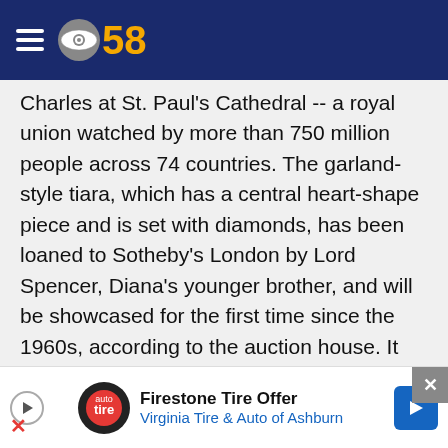CBS 58
Charles at St. Paul's Cathedral -- a royal union watched by more than 750 million people across 74 countries. The garland-style tiara, which has a central heart-shape piece and is set with diamonds, has been loaned to Sotheby's London by Lord Spencer, Diana's younger brother, and will be showcased for the first time since the 1960s, according to the auction house. It was a go-to accessory for Diana, who reportedly wore the piece seven times between her marriage in 1981 and her death in 1997.
It was likely handed down to Diana by her grandmother, Lady Cynthia Hamilton, who received
[Figure (screenshot): Firestone Tire Offer advertisement banner — Virginia Tire & Auto of Ashburn]